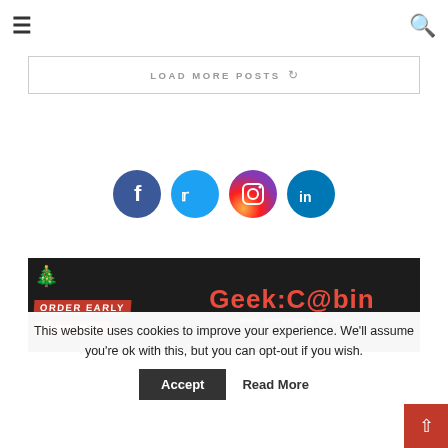☰  🔍
LOAD MORE POSTS ↻
[Figure (infographic): Four social media icon circles: Facebook (dark blue), Twitter (light blue), Instagram (gradient purple-orange), LinkedIn (blue)]
[Figure (illustration): GeekCabin.co.uk promotional banner with Christmas tree, 'ORDER EARLY' and 'CHRISTMAS' text on red background, and Geek:Cabin logo with website URL www.geekcabin.co.uk on dark background]
This website uses cookies to improve your experience. We'll assume you're ok with this, but you can opt-out if you wish.
Accept    Read More